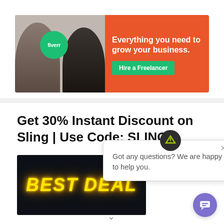[Figure (illustration): Fiverr advertisement banner on orange background showing two people and text 'Everything you need to grow your business. Hire a Freelancer']
Get 30% Instant Discount on Sling | Use Code: SLING
[Figure (photo): Dark background image with neon yellow glowing text reading 'BEST DEAL']
Got any questions? We are happy to help you.